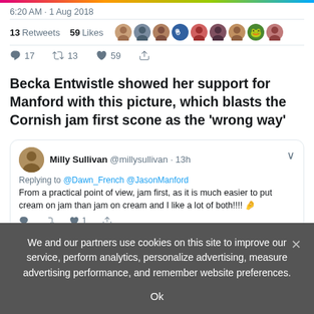[Figure (screenshot): Colorful gradient top bar]
6:20 AM · 1 Aug 2018
13 Retweets 59 Likes (with avatar icons)
17 retweets 13 likes 59 actions
Becka Entwistle showed her support for Manford with this picture, which blasts the Cornish jam first scone as the 'wrong way'
[Figure (screenshot): Embedded tweet from Milly Sullivan @millysullivan · 13h replying to @Dawn_French @JasonManford: From a practical point of view, jam first, as it is much easier to put cream on jam than jam on cream and I like a lot of both!!!!]
We and our partners use cookies on this site to improve our service, perform analytics, personalize advertising, measure advertising performance, and remember website preferences.
Ok